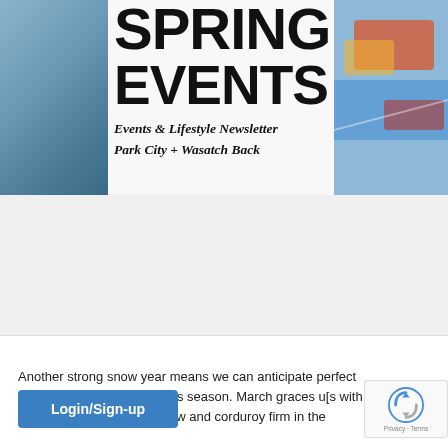[Figure (photo): Banner image with large bold text SPRING EVENTS overlaid on a snowy/water outdoor action photo, with subtitle 'Events & Lifestyle Newsletter Park City + Wasatch Back' in bold italic serif font]
[Figure (screenshot): Empty form/input field area in a white box]
Another strong snow year means we can anticipate perfect [conditions at] the end of this season. March graces u[s with cold nights to] keep the snow and corduroy firm in the
[Figure (other): Login/Sign-up blue button and reCAPTCHA badge]